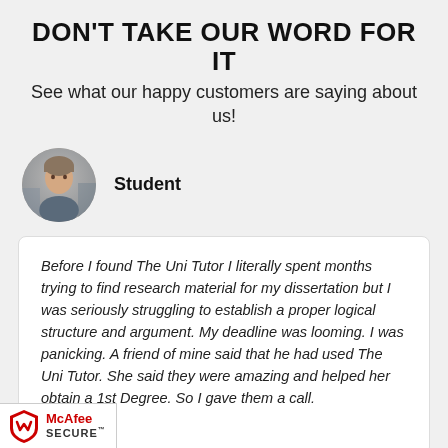DON'T TAKE OUR WORD FOR IT
See what our happy customers are saying about us!
Student
[Figure (photo): Circular avatar photo of a person (student), blurred/pixelated face]
Before I found The Uni Tutor I literally spent months trying to find research material for my dissertation but I was seriously struggling to establish a proper logical structure and argument. My deadline was looming. I was panicking. A friend of mine said that he had used The Uni Tutor. She said they were amazing and helped her obtain a 1st Degree. So I gave them a call.
[Figure (logo): McAfee SECURE badge with red and black shield logo]